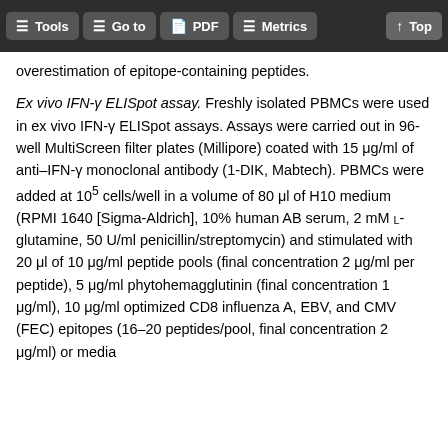Tools  Go to  PDF  Metrics  Top
overestimation of epitope-containing peptides.
Ex vivo IFN-γ ELISpot assay. Freshly isolated PBMCs were used in ex vivo IFN-γ ELISpot assays. Assays were carried out in 96-well MultiScreen filter plates (Millipore) coated with 15 μg/ml of anti–IFN-γ monoclonal antibody (1-DIK, Mabtech). PBMCs were added at 10^5 cells/well in a volume of 80 μl of H10 medium (RPMI 1640 [Sigma-Aldrich], 10% human AB serum, 2 mM L-glutamine, 50 U/ml penicillin/streptomycin) and stimulated with 20 μl of 10 μg/ml peptide pools (final concentration 2 μg/ml per peptide), 5 μg/ml phytohemagglutinin (final concentration 1 μg/ml), 10 μg/ml optimized CD8 influenza A, EBV, and CMV (FEC) epitopes (16–20 peptides/pool, final concentration 2 μg/ml) or media